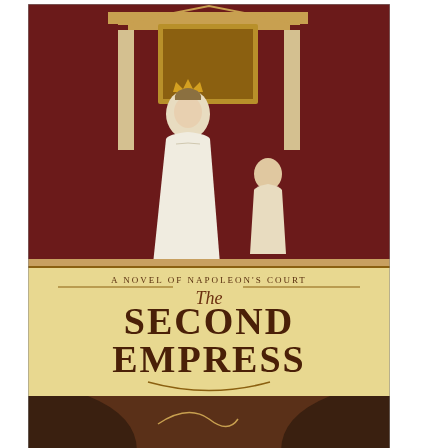[Figure (illustration): Book cover of 'The Second Empress' by Michelle Moran. Shows a woman in Regency-era white dress with a crown, standing in an ornate room. Text reads 'A Novel of Napoleon's Court', 'The Second Empress', 'Michelle Moran'. Background is dark red and gold tones.]
The Second Empress
[Figure (illustration): Book cover of 'Rebel Queen'. Shows red and gold fabric/sari with a sword hilt visible. Large white text reads 'REBEL QUEEN' on a dramatic red background.]